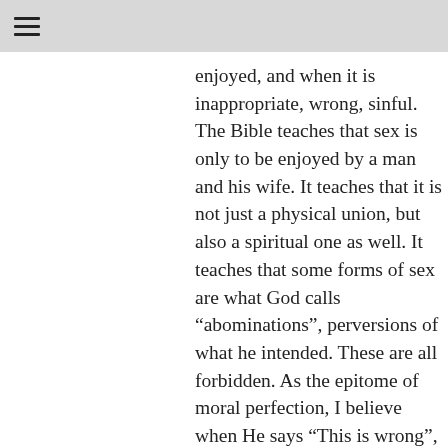☰
enjoyed, and when it is inappropriate, wrong, sinful. The Bible teaches that sex is only to be enjoyed by a man and his wife. It teaches that it is not just a physical union, but also a spiritual one as well. It teaches that some forms of sex are what God calls “abominations”, perversions of what he intended. These are all forbidden. As the epitome of moral perfection, I believe when He says “This is wrong”, it’s